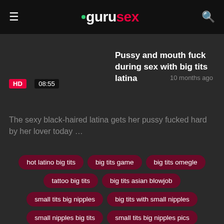gurusex
Pussy and mouth fuck during sex with big tits latina
10 months ago
HD  08:55
The sexy black-haired latina gets her pussy fucked hard by her lover today …
hot latino big tits
big tits game
big tits omegle
tattoo big tits
big tits asian blowjob
small tits big nipples
big tits with small nipples
small nipples big tits
small tits big nipples pics
small saggy tits with big nipples
small tits big nipples porn
big nipples on small tits